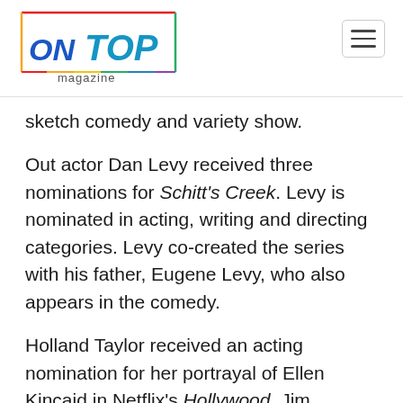ON TOP magazine
sketch comedy and variety show.
Out actor Dan Levy received three nominations for Schitt's Creek. Levy is nominated in acting, writing and directing categories. Levy co-created the series with his father, Eugene Levy, who also appears in the comedy.
Holland Taylor received an acting nomination for her portrayal of Ellen Kincaid in Netflix's Hollywood. Jim Parsons also received an acting nomination for his role as Rock Hudson's manipulative manager in the series.
Tituss Burgess' portrayal of Titus Andromedon in the Netflix comedy Unbreakable Kimmy Schmidt: Kimmy